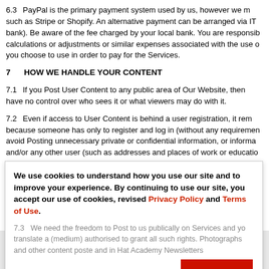6.3 PayPal is the primary payment system used by us, however we may use others such as Stripe or Shopify. An alternative payment can be arranged via IT (internet bank). Be aware of the fee charged by your local bank. You are responsible for calculations or adjustments or similar expenses associated with the use of whatever you choose to use in order to pay for the Services.
7 HOW WE HANDLE YOUR CONTENT
7.1 If you Post User Content to any public area of Our Website, then we have no control over who sees it or what viewers may do with it.
7.2 Even if access to User Content is behind a user registration, it remains public because someone has only to register and log in (without any requirement). Please avoid Posting unnecessary private or confidential information, or information about and/or any other user (such as addresses and places of work or education). Protecting information over the internet, so please do not Post any information which could endanger or the personal or financial safety of others.
7.3 You need the freedom to Post to us publically on Services and you may translate and (medium) authorised to grant all such rights. Photographs and other content posted and in Hat Academy Newsletters
We use cookies to understand how you use our site and to improve your experience. By continuing to use our site, you accept our use of cookies, revised Privacy Policy and Terms of Use.
7.4 We will use that licence only for commercially the business commercially reasonable period of time.
7.5 By agreeing to these Terms, you consent to any act or omission